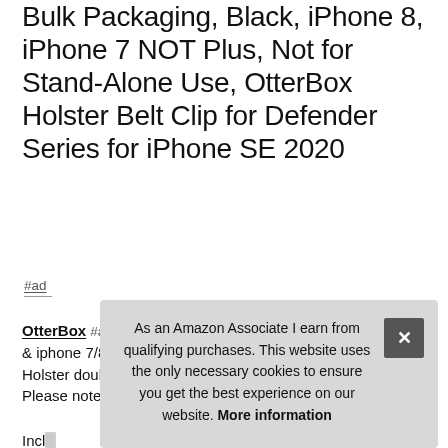Bulk Packaging, Black, iPhone 8, iPhone 7 NOT Plus, Not for Stand-Alone Use, OtterBox Holster Belt Clip for Defender Series for iPhone SE 2020
#ad
OtterBox #ad - Compatible with iphone se 2020 version only & iphone 7/8 noT COMPATIBLE WITH PLUS MODELS. Holster doubles as a stand for hands-free media viewing. Please note: this [text cut off]
As an Amazon Associate I earn from qualifying purchases. This website uses the only necessary cookies to ensure you get the best experience on our website. More information
Incl[text cut off]
details and is 100% authentic. Must be paired with Defender [text cut off]